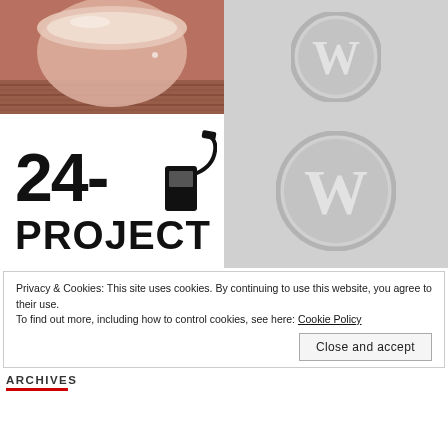[Figure (photo): Photo of a cup/mug on a woven surface with warm reddish-brown tones]
[Figure (logo): WordPress logo placeholder on gray background (top right)]
[Figure (logo): 24-Project logo with gas pump icon and bold text reading '24- PROJECT']
[Figure (logo): WordPress logo placeholder on gray background (bottom right)]
Privacy & Cookies: This site uses cookies. By continuing to use this website, you agree to their use.
To find out more, including how to control cookies, see here: Cookie Policy
Close and accept
ARCHIVES